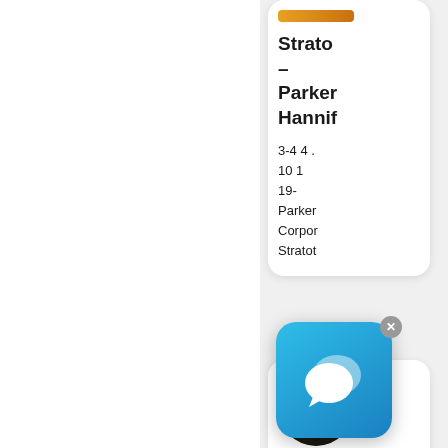Strato – Parker Hannif
3-4 4 . 10 1 19- Parker Corpor Stratot
[Figure (screenshot): Chat popup icon with speech bubbles on blue gradient background, with close (x) button]
[Figure (photo): Circular thumbnail of hydraulic hoses, yellow and black]
Hydra Hoses